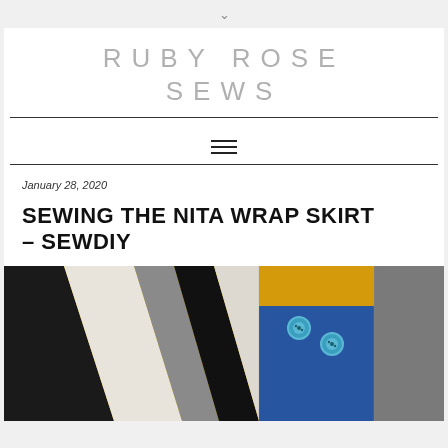RUBY ROSE SEWS
January 28, 2020
SEWING THE NITA WRAP SKIRT – SEWDIY
[Figure (photo): A colorful wrap skirt laid on a bright yellow background, featuring black, white, gray, blue, and yellow/gold color-block panels with two teal/blue buttons visible on the waistband.]